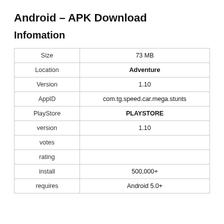Android – APK Download
Infomation
|  |  |
| --- | --- |
| Size | 73 MB |
| Location | Adventure |
| Version | 1.10 |
| AppID | com.tg.speed.car.mega.stunts |
| PlayStore | PLAYSTORE |
| version | 1.10 |
| votes |  |
| rating |  |
| install | 500,000+ |
| requires | Android 5.0+ |